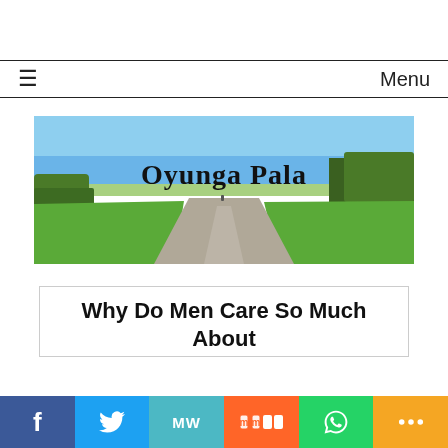≡  Menu
[Figure (photo): Wide landscape photo of a rural path splitting through green fields under a blue sky, with trees on the right and the text 'Oyunga Pala' overlaid in bold serif font at the center.]
Why Do Men Care So Much About
f  Twitter  MW  m  WhatsApp  <